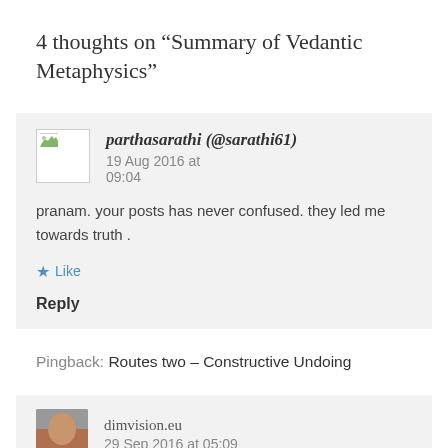4 thoughts on “Summary of Vedantic Metaphysics”
parthasarathi (@sarathi61)   19 Aug 2016 at 09:04
pranam. your posts has never confused. they led me towards truth .
★ Like
Reply
Pingback: Routes two – Constructive Undoing
dimvision.eu   29 Sep 2016 at 05:09